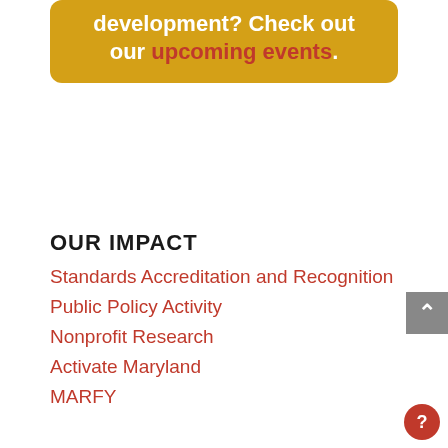development? Check out our upcoming events.
OUR IMPACT
Standards Accreditation and Recognition
Public Policy Activity
Nonprofit Research
Activate Maryland
MARFY